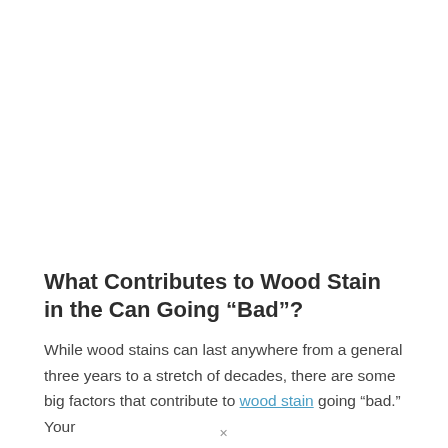What Contributes to Wood Stain in the Can Going “Bad”?
While wood stains can last anywhere from a general three years to a stretch of decades, there are some big factors that contribute to wood stain going “bad.” Your